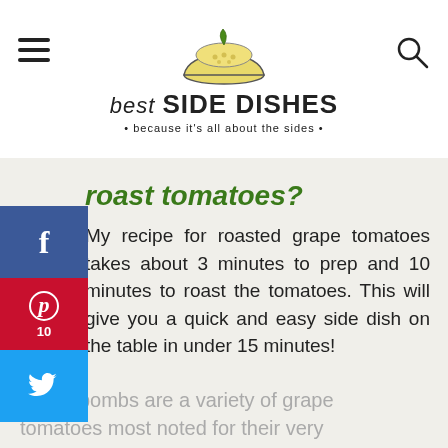best SIDE DISHES • because it's all about the sides •
roast tomatoes?
My recipe for roasted grape tomatoes takes about 3 minutes to prep and 10 minutes to roast the tomatoes. This will give you a quick and easy side dish on the table in under 15 minutes!
What are sugar bomb tomatoes?
Sugar bombs are a variety of grape tomatoes most noted for their very